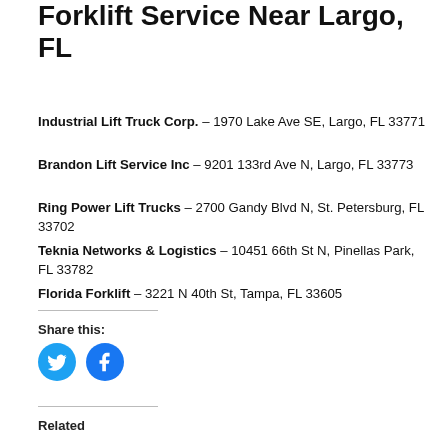Forklift Service Near Largo, FL
Industrial Lift Truck Corp. – 1970 Lake Ave SE, Largo, FL 33771
Brandon Lift Service Inc – 9201 133rd Ave N, Largo, FL 33773
Ring Power Lift Trucks – 2700 Gandy Blvd N, St. Petersburg, FL 33702
Teknia Networks & Logistics – 10451 66th St N, Pinellas Park, FL 33782
Florida Forklift – 3221 N 40th St, Tampa, FL 33605
Share this:
[Figure (illustration): Twitter and Facebook share buttons as blue circles with white icons]
Related